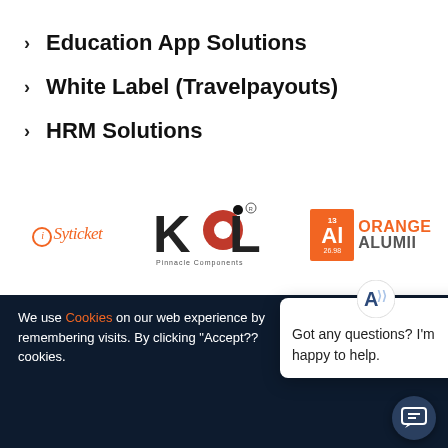Education App Solutions
White Label (Travelpayouts)
HRM Solutions
[Figure (logo): Three company logos: iSyticket (orange italic), KoiL Pinnacle Components (red/black), Orange Alumii (orange/grey element-style badge)]
We use Cookies on our web experience by remembering visits. By clicking "Accept?? cookies.
[Figure (screenshot): Chat popup with bot icon showing 'Got any questions? I'm happy to help.']